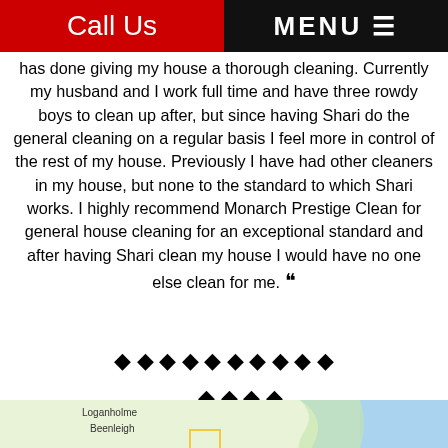Call Us | MENU
has done giving my house a thorough cleaning. Currently my husband and I work full time and have three rowdy boys to clean up after, but since having Shari do the general cleaning on a regular basis I feel more in control of the rest of my house. Previously I have had other cleaners in my house, but none to the standard to which Shari works. I highly recommend Monarch Prestige Clean for general house cleaning for an exceptional standard and after having Shari clean my house I would have no one else clean for me. ””
[Figure (other): 14 diamond/star rating symbols arranged in two rows]
[Figure (map): Google map showing Loganholme, Beenleigh, Yarrabilba, Pimpama, Coomera, South Stradbroke Island area near Brisbane, Australia]